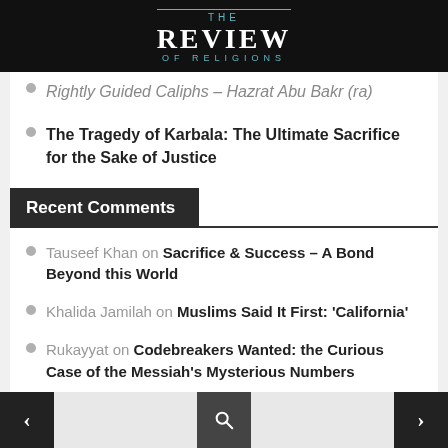THE REVIEW OF RELIGIONS
Rightly Guided Caliphs – Hazrat Abu Bakr (ra)
The Tragedy of Karbala: The Ultimate Sacrifice for the Sake of Justice
Recent Comments
Tauseef Khan on Sacrifice & Success – A Bond Beyond this World
Khalida Jamilah on Muslims Said It First: 'California'
Rukayyat on Codebreakers Wanted: the Curious Case of the Messiah's Mysterious Numbers
Rukayyat on Codebreakers Wanted: the Curious Case of the Messiah's Mysterious